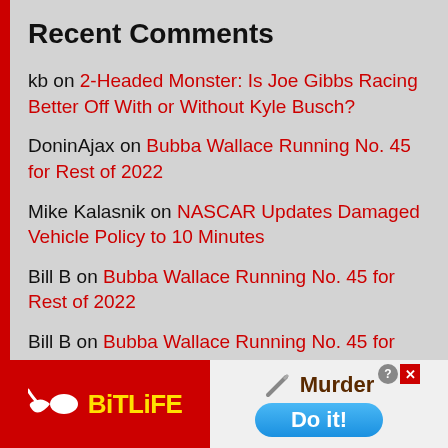Recent Comments
kb on 2-Headed Monster: Is Joe Gibbs Racing Better Off With or Without Kyle Busch?
DoninAjax on Bubba Wallace Running No. 45 for Rest of 2022
Mike Kalasnik on NASCAR Updates Damaged Vehicle Policy to 10 Minutes
Bill B on Bubba Wallace Running No. 45 for Rest of 2022
Bill B on Bubba Wallace Running No. 45 for
[Figure (screenshot): BitLife mobile game advertisement banner at the bottom of the page, showing the BitLife logo on a red background on the left, and a game prompt showing 'Murder' with 'Do it!' button on the right side]